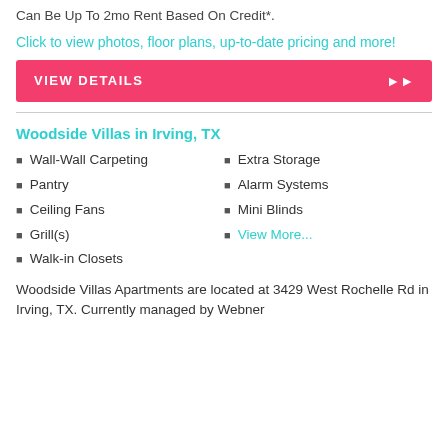Can Be Up To 2mo Rent Based On Credit*.
Click to view photos, floor plans, up-to-date pricing and more!
VIEW DETAILS
Woodside Villas in Irving, TX
Wall-Wall Carpeting
Pantry
Ceiling Fans
Grill(s)
Walk-in Closets
Extra Storage
Alarm Systems
Mini Blinds
View More...
Woodside Villas Apartments are located at 3429 West Rochelle Rd in Irving, TX. Currently managed by Webner